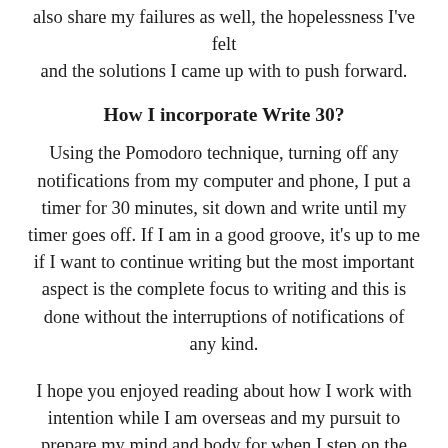also share my failures as well, the hopelessness I've felt and the solutions I came up with to push forward.
How I incorporate Write 30?
Using the Pomodoro technique, turning off any notifications from my computer and phone, I put a timer for 30 minutes, sit down and write until my timer goes off. If I am in a good groove, it's up to me if I want to continue writing but the most important aspect is the complete focus to writing and this is done without the interruptions of notifications of any kind.
I hope you enjoyed reading about how I work with intention while I am overseas and my pursuit to prepare my mind and body for when I step on the court and for the day when I step off the court, for good. When attempting to create your own list, I recommend starting with 4-5 habits for the first week to find your groove and to build